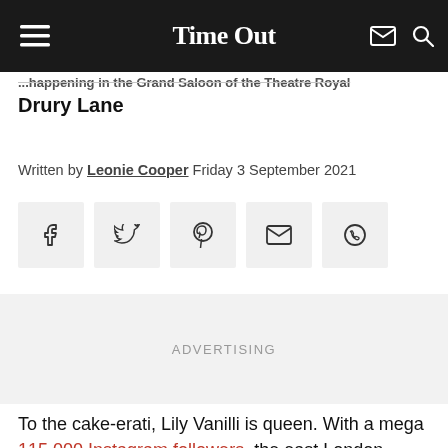Time Out
...happening in the Grand Saloon of the Theatre Royal Drury Lane
Written by Leonie Cooper Friday 3 September 2021
[Figure (infographic): Social share buttons: Facebook, Twitter, Pinterest, Email, WhatsApp]
ADVERTISING
To the cake-erati, Lily Vanilli is queen. With a mega 115,000 Instagram followers, the east London baker and princess of piping is known for spectacular creations which look